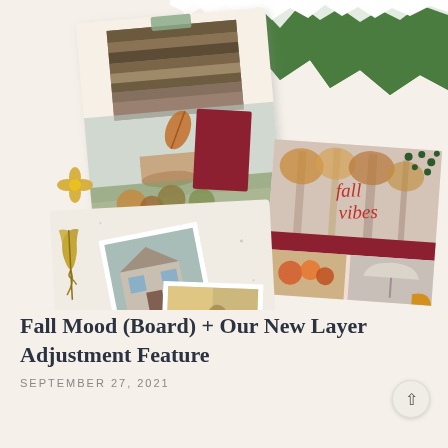[Figure (illustration): Three autumn/fall mood board collages arranged on a cream background with green grass in the top-right corner. Top-left collage shows stacked books, a tea cup, autumn flowers and foliage on a beige card. Top-right collage shows fall trees, text reading 'fall vibes' in red script, autumn fruits, and a person holding an umbrella, on a pink-peach card. Bottom-left collage shows Polaroid-style photos of a house exterior in winter/autumn, an open book, and outdoor scenes with golden light, on a speckled beige card.]
Fall Mood (Board) + Our New Layer Adjustment Feature
SEPTEMBER 27, 2021